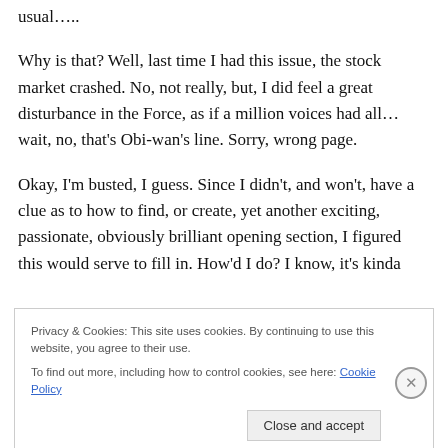usual…..
Why is that? Well, last time I had this issue, the stock market crashed. No, not really, but, I did feel a great disturbance in the Force, as if a million voices had all… wait, no, that's Obi-wan's line. Sorry, wrong page.
Okay, I'm busted, I guess. Since I didn't, and won't, have a clue as to how to find, or create, yet another exciting, passionate, obviously brilliant opening section, I figured this would serve to fill in. How'd I do? I know, it's kinda
Privacy & Cookies: This site uses cookies. By continuing to use this website, you agree to their use.
To find out more, including how to control cookies, see here: Cookie Policy